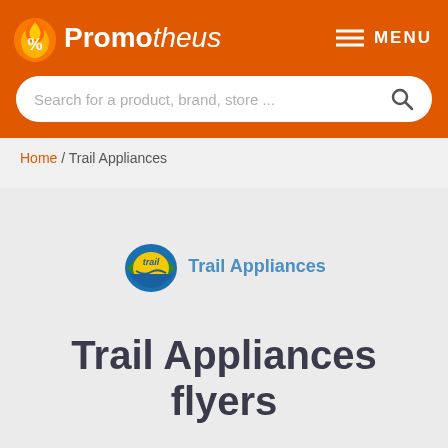Promotheus — MENU
Search for a product, brand, store ...
Home / Trail Appliances
[Figure (logo): Trail Appliances logo: circular globe-like badge with trail text and green/yellow colors, with 'Trail Appliances' text in blue to the right]
Trail Appliances flyers